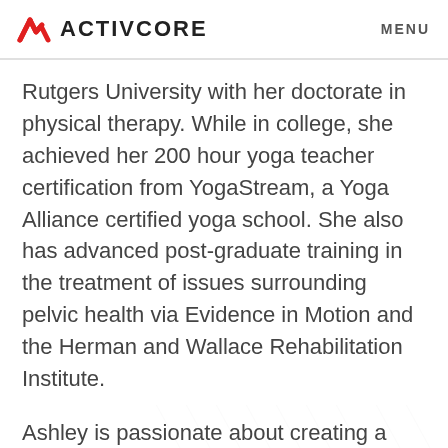ACTIVCORE  MENU
Rutgers University with her doctorate in physical therapy. While in college, she achieved her 200 hour yoga teacher certification from YogaStream, a Yoga Alliance certified yoga school. She also has advanced post-graduate training in the treatment of issues surrounding pelvic health via Evidence in Motion and the Herman and Wallace Rehabilitation Institute.
Ashley is passionate about creating a